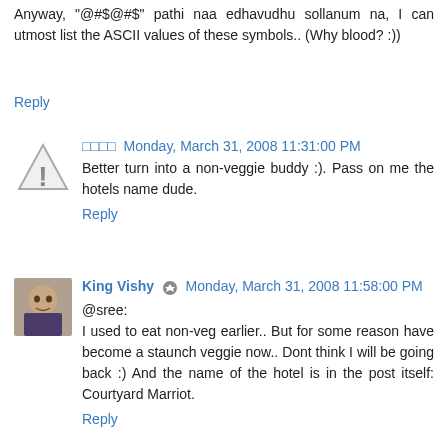Anyway, "@#$@#$" pathi naa edhavudhu sollanum na, I can utmost list the ASCII values of these symbols.. (Why blood? :))
Reply
□□□□ Monday, March 31, 2008 11:31:00 PM
Better turn into a non-veggie buddy :). Pass on me the hotels name dude.
Reply
King Vishy  Monday, March 31, 2008 11:58:00 PM
@sree:
I used to eat non-veg earlier.. But for some reason have become a staunch veggie now.. Dont think I will be going back :) And the name of the hotel is in the post itself: Courtyard Marriot.
Reply